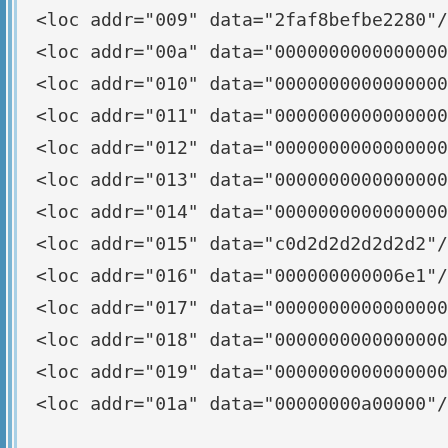<loc addr="009" data="2faf8befbe2280"/>
<loc addr="00a" data="0000000000000000"/>
<loc addr="010" data="0000000000000000"/>
<loc addr="011" data="0000000000000000"/>
<loc addr="012" data="0000000000000000"/>
<loc addr="013" data="0000000000000000"/>
<loc addr="014" data="0000000000000000"/>
<loc addr="015" data="c0d2d2d2d2d2d2"/>
<loc addr="016" data="000000000006e1"/>
<loc addr="017" data="0000000000000000"/>
<loc addr="018" data="0000000000000000"/>
<loc addr="019" data="0000000000000000"/>
<loc addr="01a" data="00000000a00000"/>